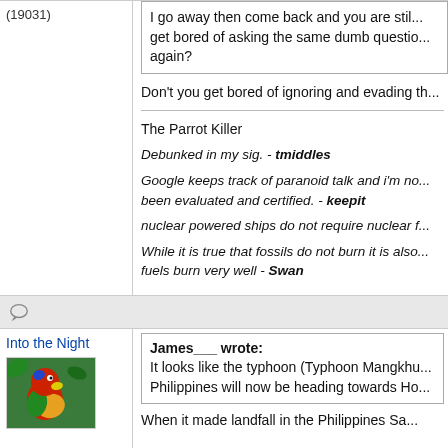(19031)
I go away then come back and you are still... get bored of asking the same dumb questions again?
Don't you get bored of ignoring and evading th...
The Parrot Killer
Debunked in my sig. - tmiddles
Google keeps track of paranoid talk and i'm no... been evaluated and certified. - keepit
nuclear powered ships do not require nuclear f...
While it is true that fossils do not burn it is also... fuels burn very well - Swan
Into the Night
James___ wrote:
It looks like the typhoon (Typhoon Mangkhu... Philippines will now be heading towards Ho...

When it made landfall in the Philippines Sa...